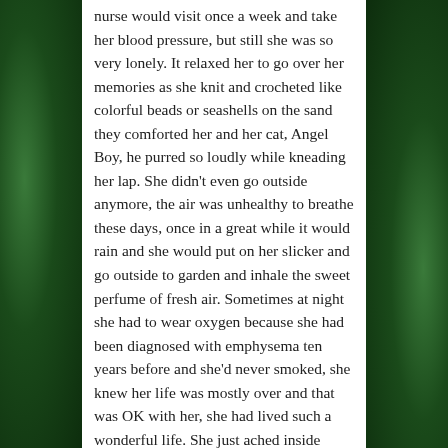nurse would visit once a week and take her blood pressure, but still she was so very lonely. It relaxed her to go over her memories as she knit and crocheted like colorful beads or seashells on the sand they comforted her and her cat, Angel Boy, he purred so loudly while kneading her lap. She didn't even go outside anymore, the air was unhealthy to breathe these days, once in a great while it would rain and she would put on her slicker and go outside to garden and inhale the sweet perfume of fresh air. Sometimes at night she had to wear oxygen because she had been diagnosed with emphysema ten years before and she'd never smoked, she knew her life was mostly over and that was OK with her, she had lived such a wonderful life. She just ached inside when she thought of her little granddaughter just
[Figure (illustration): Green malachite or stone texture background on left and right sides of the page, flanking the central white text panel]